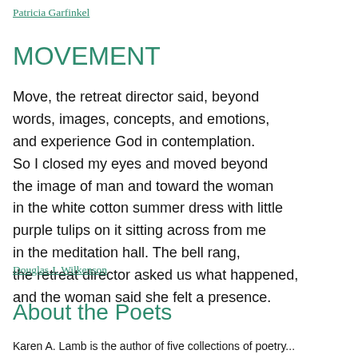Patricia Garfinkel
MOVEMENT
Move, the retreat director said, beyond
words, images, concepts, and emotions,
and experience God in contemplation.
So I closed my eyes and moved beyond
the image of man and toward the woman
in the white cotton summer dress with little
purple tulips on it sitting across from me
in the meditation hall. The bell rang,
the retreat director asked us what happened,
and the woman said she felt a presence.
Douglas J. Wilkenson
About the Poets
Karen A. Lamb is the author of five collections of poetry...